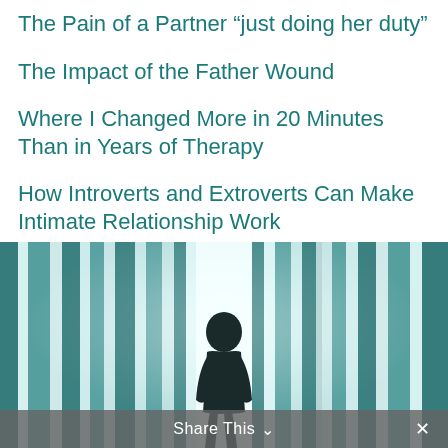The Pain of a Partner “just doing her duty”
The Impact of the Father Wound
Where I Changed More in 20 Minutes Than in Years of Therapy
How Introverts and Extroverts Can Make Intimate Relationship Work
[Figure (illustration): A dark silhouette of a person walking toward bright light between tall vertical panels of light teal/white color, creating a corridor effect.]
Share This ⌄ ×